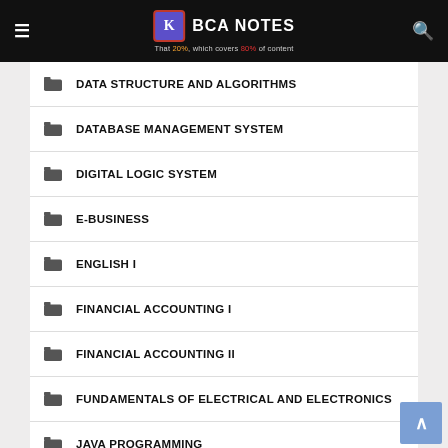BCA NOTES — That 20%, which covers 80% of content
DATA STRUCTURE AND ALGORITHMS
DATABASE MANAGEMENT SYSTEM
DIGITAL LOGIC SYSTEM
E-BUSINESS
ENGLISH I
FINANCIAL ACCOUNTING I
FINANCIAL ACCOUNTING II
FUNDAMENTALS OF ELECTRICAL AND ELECTRONICS
JAVA PROGRAMMING
LINUX